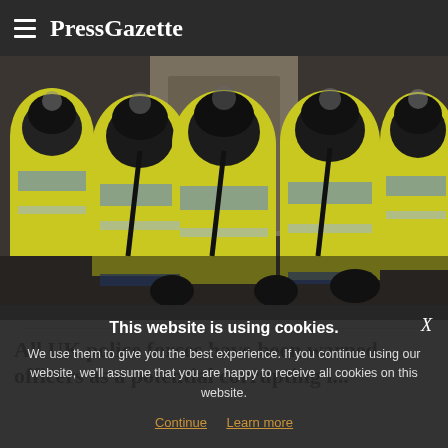PressGazette
[Figure (photo): Group of UK police officers in high-visibility yellow jackets and traditional black helmets standing in formation]
All UK police forces have been warned officers as a potential corrupting i...
This website is using cookies. We use them to give you the best experience. If you continue using our website, we'll assume that you are happy to receive all cookies on this website. Continue  Learn more